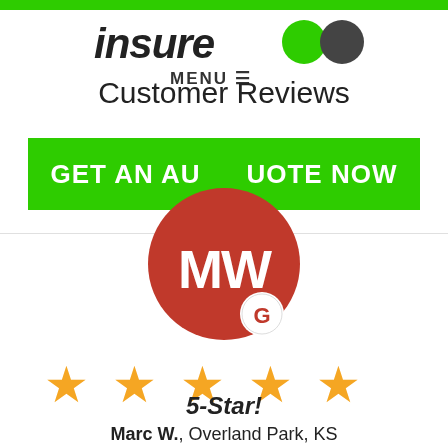insure (logo with green circles)
MENU
Customer Reviews
GET AN AUTO QUOTE NOW
[Figure (illustration): Red circular avatar with initials MW and a Google badge G overlay]
[Figure (infographic): 5 gold star rating icons]
5-Star!
Marc W., Overland Park, KS